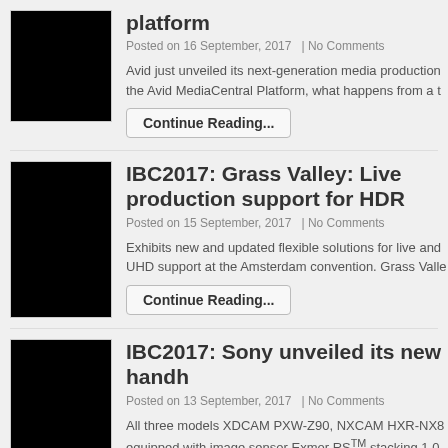[Figure (photo): Black thumbnail image for Avid platform article]
platform
Posted on 16 September, 2017  |  No Comments
Avid just unveiled its next-generation media production the Avid MediaCentral Platform, what happens from a t
Continue Reading...
[Figure (photo): Black thumbnail image for Grass Valley article]
IBC2017: Grass Valley: Live production support for HDR
Posted on 15 September, 2017   |  No Comments
Exhibits new and updated flexible solutions for live and UHD support at the Amsterdam convention. Grass Valle
Continue Reading...
[Figure (photo): Black thumbnail image for Sony article]
IBC2017: Sony unveiled its new handh
Posted on 13 September, 2017   |  No Comments
All three models XDCAM PXW-Z90, NXCAM HXR-NX8 equipped with image sensor Exmor RSTM stacking 1.0 HDR camcorders [...]